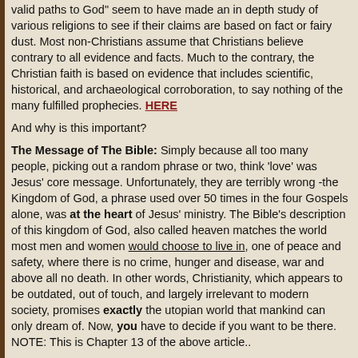valid paths to God" seem to have made an in depth study of various religions to see if their claims are based on fact or fairy dust. Most non-Christians assume that Christians believe contrary to all evidence and facts. Much to the contrary, the Christian faith is based on evidence that includes scientific, historical, and archaeological corroboration, to say nothing of the many fulfilled prophecies. HERE
And why is this important?
The Message of The Bible: Simply because all too many people, picking out a random phrase or two, think 'love' was Jesus' core message. Unfortunately, they are terribly wrong -the Kingdom of God, a phrase used over 50 times in the four Gospels alone, was at the heart of Jesus' ministry. The Bible's description of this kingdom of God, also called heaven matches the world most men and women would choose to live in, one of peace and safety, where there is no crime, hunger and disease, war and above all no death. In other words, Christianity, which appears to be outdated, out of touch, and largely irrelevant to modern society, promises exactly the utopian world that mankind can only dream of. Now, you have to decide if you want to be there. NOTE: This is Chapter 13 of the above article..
Section 3A - Barriers to Faith
The absence of anything even faintly resembling peace in our world and the sheer scale of many natural calamities cause many others to question God's goodness or even His very existence. Section includes Does God violate His own commandment? Joshua's Conquest: How could a good God commission Israel to destroy women and children? The Dark Side Of Church History. The Real Murderers: Atheism or